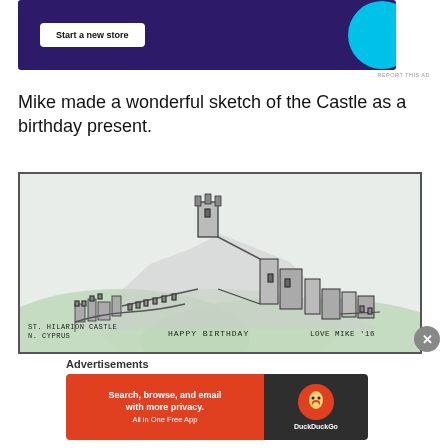[Figure (other): Top advertisement banner with dark purple background showing 'Start a new store' button and cyan circle graphic]
REPORT THIS AD
Mike made a wonderful sketch of the Castle as a birthday present.
[Figure (illustration): Hand-drawn pencil sketch of St. Hilarion Castle, N. Cyprus, with green watercolor hills. Text reads 'ST. HILARION CASTLE N. CYPRUS' and 'HAPPY BIRTHDAY LOVE MIKE '16']
Advertisements
[Figure (other): DuckDuckGo advertisement banner with orange left panel reading 'Search, browse, and email with more privacy. All in One Free App' and dark right panel with DuckDuckGo duck logo]